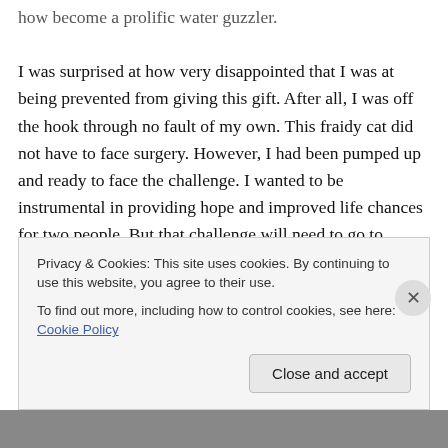how become a prolific water guzzler.

I was surprised at how very disappointed that I was at being prevented from giving this gift. After all, I was off the hook through no fault of my own. This fraidy cat did not have to face surgery. However, I had been pumped up and ready to face the challenge. I wanted to be instrumental in providing hope and improved life chances for two people. But that challenge will need to go to another person and my role will have to transform into support and creating awareness of live organ donation. There is another person in our case that has a good chance of qualifying to be the
Privacy & Cookies: This site uses cookies. By continuing to use this website, you agree to their use.
To find out more, including how to control cookies, see here: Cookie Policy
Close and accept